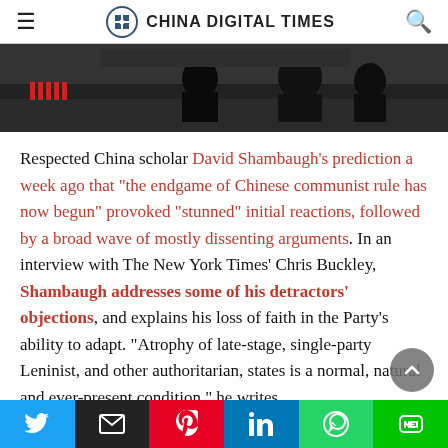CHINA DIGITAL TIMES
[Figure (photo): Dark silhouettes of people in a public square, with colorful guards in the background]
Respected China scholar David Shambaugh's prediction a week ago that “the endgame of Chinese communist rule has now begun” provoked “stunned” initial reactions, followed by a broad wave of mostly dissenting arguments. In an interview with The New York Times’ Chris Buckley, Shambaugh addresses some of his detractors’ objections, and explains his loss of faith in the Party’s ability to adapt. “Atrophy of late-stage, single-party Leninist, and other authoritarian, states is a normal, natural and ever-present condition,” he writes
Twitter | Email | Pinterest | LinkedIn | WhatsApp | LINE